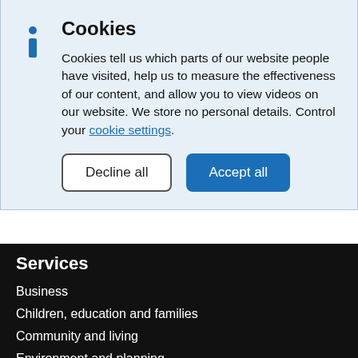Cookies
Cookies tell us which parts of our website people have visited, help us to measure the effectiveness of our content, and allow you to view videos on our website. We store no personal details. Control your cookie settings.
Services
Business
Children, education and families
Community and living
Environment and planning
Fire and public safety
Leisure and culture
Roads and transport